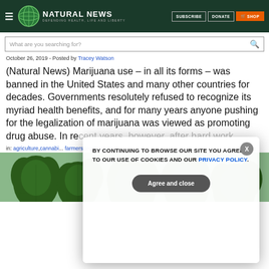Natural News — Defending Health, Life and Liberty | SUBSCRIBE  DONATE  SHOP
What are you searching for?
October 26, 2019 - Posted by Tracey Watson
(Natural News) Marijuana use – in all its forms – was banned in the United States and many other countries for decades. Governments resolutely refused to recognize its myriad health benefits, and for many years anyone pushing for the legalization of marijuana was viewed as promoting drug abuse. In recent years, however, after hard work
in: agriculture,cannabi... farmers,legalization,m...
[Figure (photo): Cannabis/marijuana plants growing, green leafy plants photographed from below]
BY CONTINUING TO BROWSE OUR SITE YOU AGREE TO OUR USE OF COOKIES AND OUR PRIVACY POLICY. Agree and close